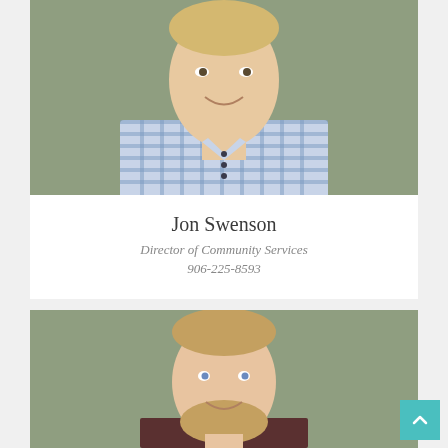[Figure (photo): Headshot of Jon Swenson, a man wearing a blue and yellow plaid shirt, smiling, in front of a grey-green background.]
Jon Swenson
Director of Community Services
906-225-8593
[Figure (photo): Partial headshot of a younger man with light brown hair and a beard, smiling, in front of a grey-green background.]